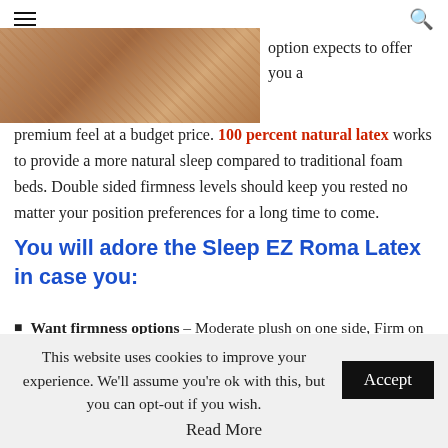☰ [hamburger menu] ... [search icon]
[Figure (photo): Close-up photo of a latex mattress surface showing tan/beige textured foam material]
option expects to offer you a premium feel at a budget price. 100 percent natural latex works to provide a more natural sleep compared to traditional foam beds. Double sided firmness levels should keep you rested no matter your position preferences for a long time to come.
You will adore the Sleep EZ Roma Latex in case you:
Want firmness options – Moderate plush on one side, Firm on the other, this item provides options so you can figure out
This website uses cookies to improve your experience. We'll assume you're ok with this, but you can opt-out if you wish.
Read More